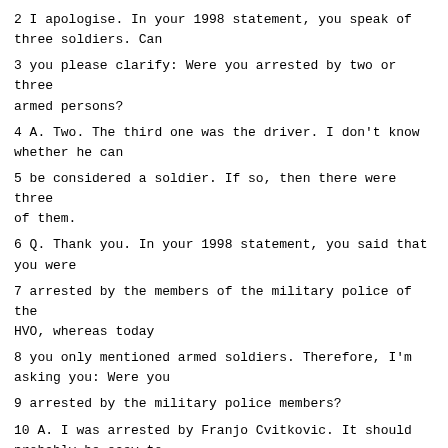2 I apologise. In your 1998 statement, you speak of three soldiers. Can
3 you please clarify: Were you arrested by two or three armed persons?
4 A. Two. The third one was the driver. I don't know whether he can
5 be considered a soldier. If so, then there were three of them.
6 Q. Thank you. In your 1998 statement, you said that you were
7 arrested by the members of the military police of the HVO, whereas today
8 you only mentioned armed soldiers. Therefore, I'm asking you: Were you
9 arrested by the military police members?
10 A. I was arrested by Franjo Cvitkovic. It should probably be easy to
11 establish where he served at the time. I may be inaccurate because I'm
12 not privy to the records. In my eyes he was a member of the military